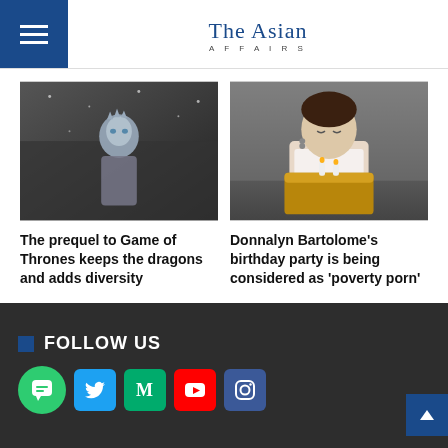The Asian Affairs
[Figure (photo): Black and white photo of the Night King character from Game of Thrones]
The prequel to Game of Thrones keeps the dragons and adds diversity
[Figure (photo): Young woman holding a birthday cake with candles, looking down with eyes closed]
Donnalyn Bartolome's birthday party is being considered as 'poverty porn'
FOLLOW US
[Figure (infographic): Social media icons: chat bubble, Twitter, Medium, YouTube, Instagram]